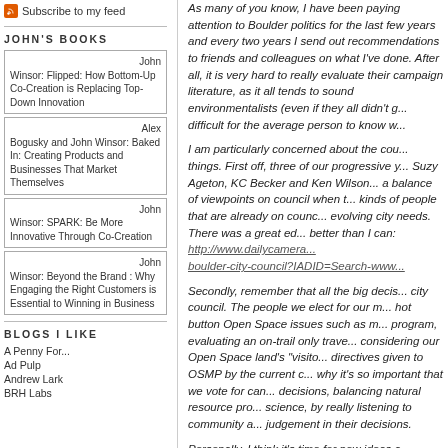Subscribe to my feed
JOHN'S BOOKS
John Winsor: Flipped: How Bottom-Up Co-Creation is Replacing Top-Down Innovation
Alex Bogusky and John Winsor: Baked In: Creating Products and Businesses That Market Themselves
John Winsor: SPARK: Be More Innovative Through Co-Creation
John Winsor: Beyond the Brand : Why Engaging the Right Customers is Essential to Winning in Business
BLOGS I LIKE
A Penny For...
Ad Pulp
Andrew Lark
BRH Labs
As many of you know, I have been paying attention to Boulder politics for the last few years and every two years I send out recommendations to friends and colleagues on what I've done. After all, it is very hard to really evaluate their campaign literature, as it all tends to sound environmentalists (even if they all didn't g... difficult for the average person to know w...
I am particularly concerned about the cou... things. First off, three of our progressive y... Suzy Ageton, KC Becker and Ken Wilson... a balance of viewpoints on council when t... kinds of people that are already on counc... evolving city needs. There was a great ed... better than I can: http://www.dailycamera... boulder-city-council?IADID=Search-www...
Secondly, remember that all the big decis... city council. The people we elect for our m... hot button Open Space issues such as m... program, evaluating an on-trail only trave... considering our Open Space land's "visito... directives given to OSMP by the current c... why it's so important that we vote for can... decisions, balancing natural resource pro... science, by really listening to community a... judgement in their decisions.
Personally, I think it's time for new ideas a... understand that Boulder's future is more i... can't freeze our town in the past, we nee...